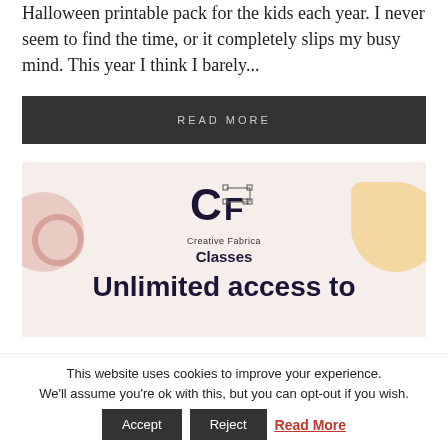Halloween printable pack for the kids each year. I never seem to find the time, or it completely slips my busy mind. This year I think I barely...
READ MORE
[Figure (illustration): Creative Fabrica Classes advertisement banner showing CF logo, 'Creative Fabrica', 'Classes', 'Unlimited access to' text with decorative shapes on a beige background]
This website uses cookies to improve your experience. We'll assume you're ok with this, but you can opt-out if you wish. Accept Reject Read More